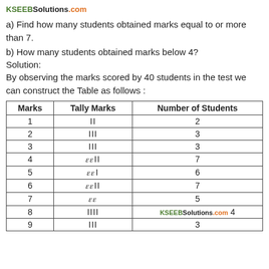KSEEBSolutions.com
a) Find how many students obtained marks equal to or more than 7.
b) How many students obtained marks below 4?
Solution:
By observing the marks scored by 40 students in the test we can construct the Table as follows :
| Marks | Tally Marks | Number of Students |
| --- | --- | --- |
| 1 | II | 2 |
| 2 | III | 3 |
| 3 | III | 3 |
| 4 | THH II | 7 |
| 5 | THH I | 6 |
| 6 | THH II | 7 |
| 7 | THH | 5 |
| 8 | IIII | KSEEBSolutions.com 4 |
| 9 | III | 3 |